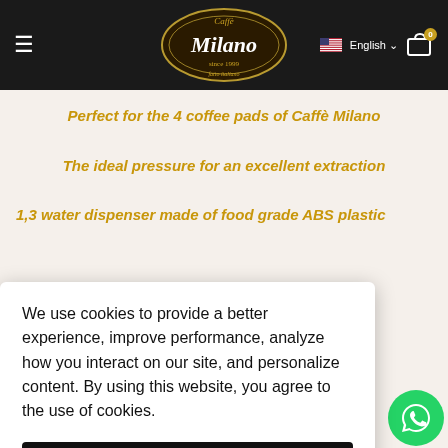Caffè Milano — since 1999 | English | Cart
Perfect for the 4 coffee pads of Caffè Milano
The ideal pressure for an excellent extraction
1,3 water dispenser made of food grade ABS plastic
We use cookies to provide a better experience, improve performance, analyze how you interact on our site, and personalize content. By using this website, you agree to the use of cookies.
Ok, entendi!